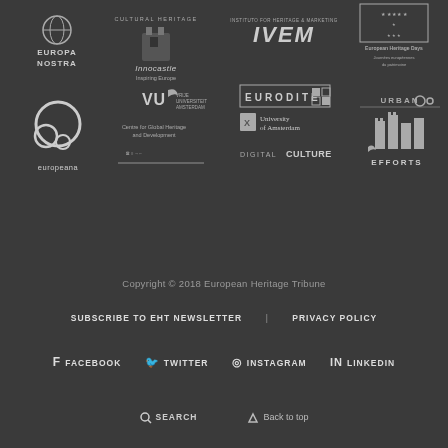[Figure (logo): Grid of partner organization logos: Europa Nostra, Cultural Heritage org, IVEM, European Heritage Days, Innocastle, Eurodite, Urban org, Europeana, VU University Amsterdam, Centre for Global Heritage and Development, University of Amsterdam, Digital Culture, Efforts]
Copyright © 2018 European Heritage Tribune
SUBSCRIBE TO EHT NEWSLETTER    PRIVACY POLICY
FACEBOOK    TWITTER    INSTAGRAM    LINKEDIN
SEARCH    Back to top